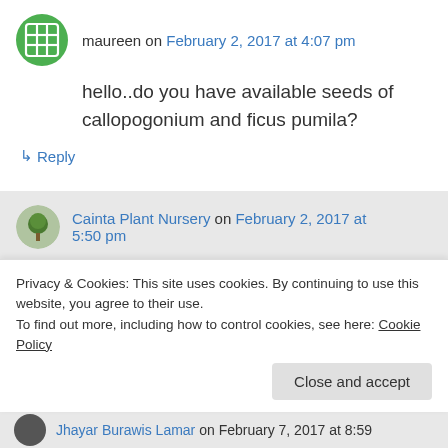maureen on February 2, 2017 at 4:07 pm
hello..do you have available seeds of callopogonium and ficus pumila?
↳ Reply
Cainta Plant Nursery on February 2, 2017 at 5:50 pm
Hi Maureen!
Privacy & Cookies: This site uses cookies. By continuing to use this website, you agree to their use.
To find out more, including how to control cookies, see here: Cookie Policy
Close and accept
Jhayar Burawis Lamar on February 7, 2017 at 8:59